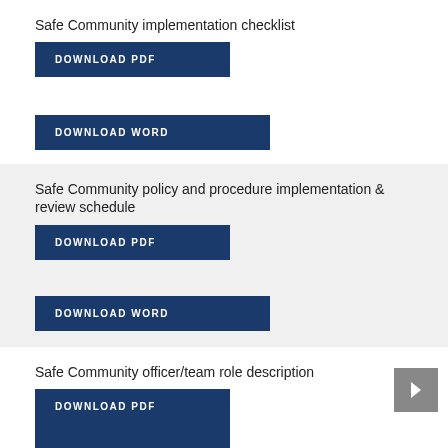Safe Community implementation checklist
[Figure (other): DOWNLOAD PDF button (dark blue)]
[Figure (other): DOWNLOAD WORD button (dark blue)]
Safe Community policy and procedure implementation & review schedule
[Figure (other): DOWNLOAD PDF button (dark blue)]
[Figure (other): DOWNLOAD WORD button (dark blue)]
Safe Community officer/team role description
[Figure (other): DOWNLOAD PDF button (dark blue)]
[Figure (other): Partial DOWNLOAD WORD button (dark blue), cut off at bottom]
[Figure (other): Navigation arrow button (gray, right side)]